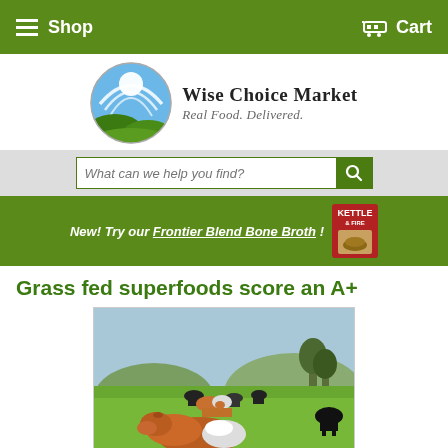Shop   Cart
[Figure (logo): Wise Choice Market logo — circular emblem with hills, sky, and white arc lines; text reads 'Wise Choice Market Real Food. Delivered.']
What can we help you find?
New! Try our Frontier Blend Bone Broth !
Grass fed superfoods score an A+
[Figure (photo): Cows grazing on a green hillside pasture with trees and mountains in the background. A large brown and white cow lies in the foreground.]
The nutrients in grass-fed products